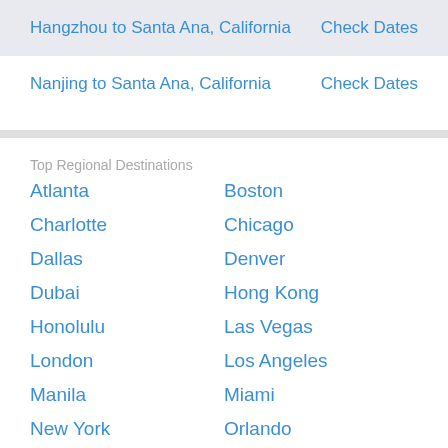Hangzhou to Santa Ana, California — Check Dates
Nanjing to Santa Ana, California — Check Dates
Top Regional Destinations
Atlanta
Boston
Charlotte
Chicago
Dallas
Denver
Dubai
Hong Kong
Honolulu
Las Vegas
London
Los Angeles
Manila
Miami
New York
Orlando